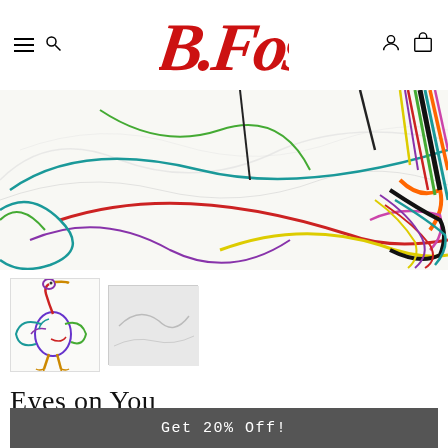B.Fos — navigation header with hamburger, search, logo, user and cart icons
[Figure (illustration): Abstract colorful line artwork on white background with energetic sweeping strokes in multiple colors including red, teal, green, yellow, purple, black, orange and pink]
[Figure (illustration): Thumbnail of colorful heron/bird illustration with purple, red, blue, yellow strokes]
[Figure (illustration): Thumbnail of lighter abstract artwork, mostly white/grey]
Eyes on You
Get 20% Off!